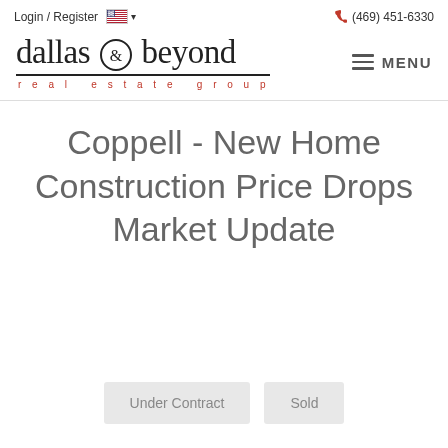Login / Register  🇺🇸 ▾   (469) 451-6330
[Figure (logo): Dallas & Beyond Real Estate Group logo with wordmark and tagline]
Coppell - New Home Construction Price Drops Market Update
Under Contract
Sold